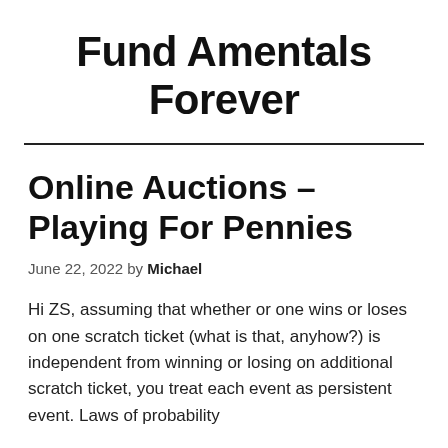Fund Amentals Forever
Online Auctions – Playing For Pennies
June 22, 2022 by Michael
Hi ZS, assuming that whether or one wins or loses on one scratch ticket (what is that, anyhow?) is independent from winning or losing on additional scratch ticket, you treat each event as persistent event. Laws of probability